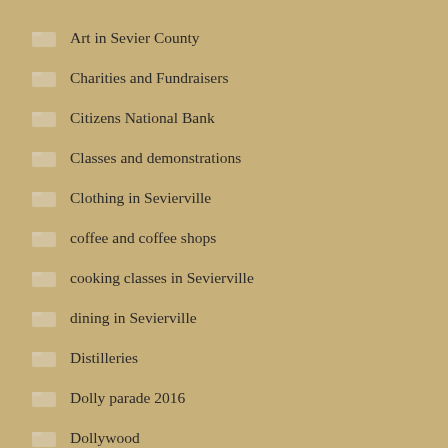Art in Sevier County
Charities and Fundraisers
Citizens National Bank
Classes and demonstrations
Clothing in Sevierville
coffee and coffee shops
cooking classes in Sevierville
dining in Sevierville
Distilleries
Dolly parade 2016
Dollywood
Downtown Dining in Sevierville
Downtown Sevierville
Events